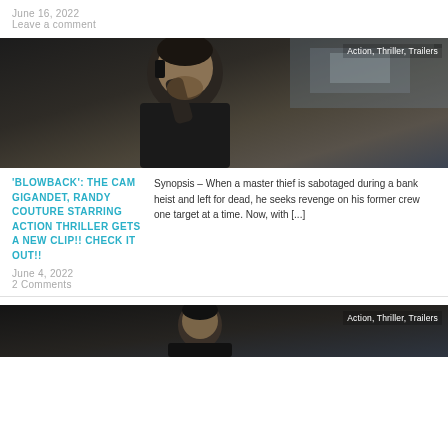June 16, 2022
Leave a comment
[Figure (photo): Man talking on phone, movie still from action thriller, tags: Action, Thriller, Trailers]
'BLOWBACK': THE CAM GIGANDET, RANDY COUTURE STARRING ACTION THRILLER GETS A NEW CLIP!! CHECK IT OUT!!
Synopsis – When a master thief is sabotaged during a bank heist and left for dead, he seeks revenge on his former crew one target at a time. Now, with [...]
June 4, 2022
2 Comments
[Figure (photo): Movie still from action thriller, tags: Action, Thriller, Trailers]